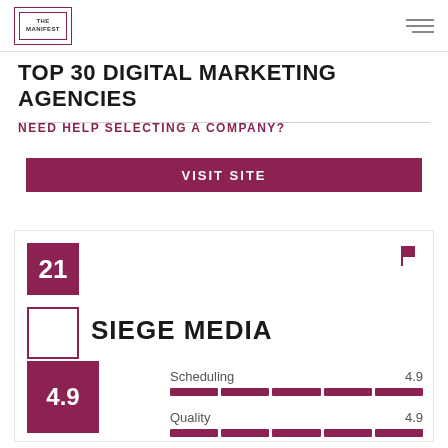THE MANIFEST
TOP 30 DIGITAL MARKETING AGENCIES
NEED HELP SELECTING A COMPANY?
VISIT SITE
21
SIEGE MEDIA
| Metric | Score |
| --- | --- |
| Scheduling | 4.9 |
| Quality | 4.9 |
4.9